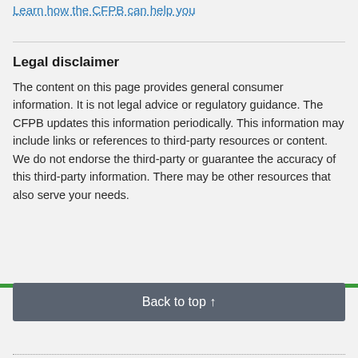Learn how the CFPB can help you
Legal disclaimer
The content on this page provides general consumer information. It is not legal advice or regulatory guidance. The CFPB updates this information periodically. This information may include links or references to third-party resources or content. We do not endorse the third-party or guarantee the accuracy of this third-party information. There may be other resources that also serve your needs.
Back to top ↑